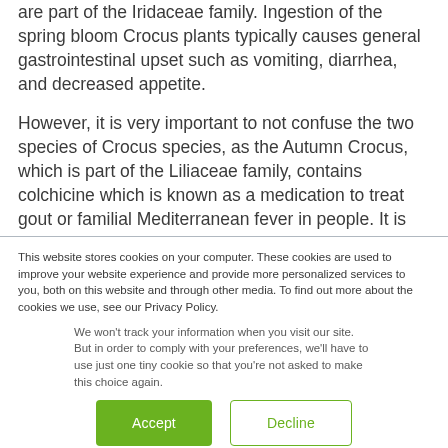are part of the Iridaceae family. Ingestion of the spring bloom Crocus plants typically causes general gastrointestinal upset such as vomiting, diarrhea, and decreased appetite.
However, it is very important to not confuse the two species of Crocus species, as the Autumn Crocus, which is part of the Liliaceae family, contains colchicine which is known as a medication to treat gout or familial Mediterranean fever in people. It is very easy to overdose
This website stores cookies on your computer. These cookies are used to improve your website experience and provide more personalized services to you, both on this website and through other media. To find out more about the cookies we use, see our Privacy Policy.
We won't track your information when you visit our site. But in order to comply with your preferences, we'll have to use just one tiny cookie so that you're not asked to make this choice again.